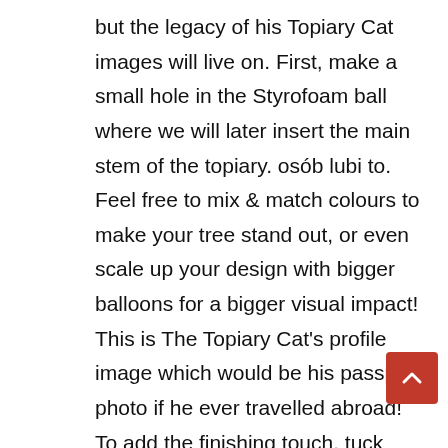but the legacy of his Topiary Cat images will live on. First, make a small hole in the Styrofoam ball where we will later insert the main stem of the topiary. osób lubi to. Feel free to mix & match colours to make your tree stand out, or even scale up your design with bigger balloons for a bigger visual impact! This is The Topiary Cat's profile image which would be his passport photo if he ever travelled abroad! To add the finishing touch, tuck lengths of tulle in between the balloons and leave a longer 'tail' to trail down the dowelling. Animal topiaries bring interest and attention to any space. When planning your topiary, keep in mind that the larger the frame, the longer it can take for the vines to cover it completely. The simplest designs are the most popular and this topiary tree has to be in the top ten! Below…